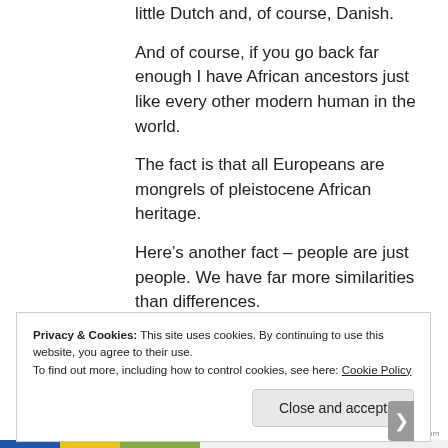little Dutch and, of course, Danish.
And of course, if you go back far enough I have African ancestors just like every other modern human in the world.
The fact is that all Europeans are mongrels of pleistocene African heritage.
Here's another fact – people are just people. We have far more similarities than differences.
Privacy & Cookies: This site uses cookies. By continuing to use this website, you agree to their use. To find out more, including how to control cookies, see here: Cookie Policy
Close and accept